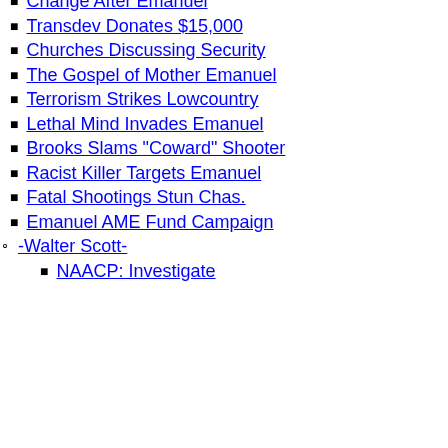Change After Emanuel
Transdev Donates $15,000
Churches Discussing Security
The Gospel of Mother Emanuel
Terrorism Strikes Lowcountry
Lethal Mind Invades Emanuel
Brooks Slams "Coward" Shooter
Racist Killer Targets Emanuel
Fatal Shootings Stun Chas.
Emanuel AME Fund Campaign
-Walter Scott-
NAACP: Investigate
Visitor Comments